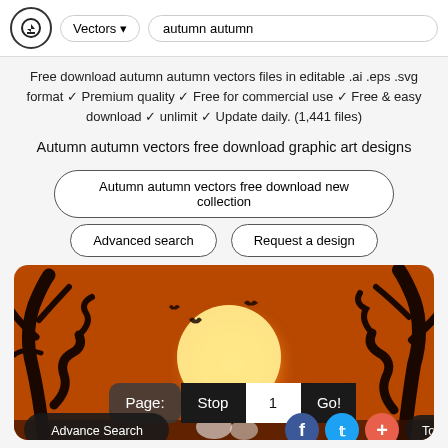Vectors autumn autumn
Free download autumn autumn vectors files in editable .ai .eps .svg format ✓ Premium quality ✓ Free for commercial use ✓ Free & easy download ✓ unlimit ✓ Update daily. (1,441 files)
Autumn autumn vectors free download graphic art designs
Autumn autumn vectors free download new collection
Advanced search
Request a design
[Figure (illustration): Halloween autumn illustration with dark trees, full orange moon, bats, and ghost figures on dark orange background. Overlay UI with Page: Stop 1 Go! pagination bar and social buttons (Advance Search, Facebook, Twitter, Plus, Top).]